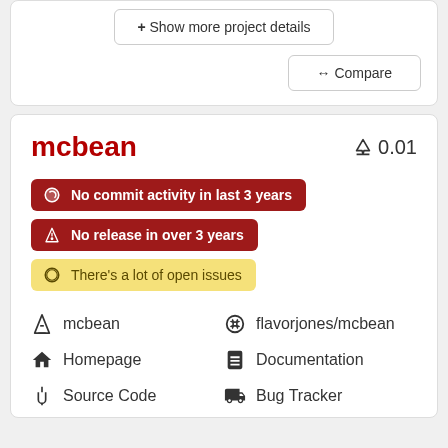+ Show more project details
↔ Compare
mcbean
🔬 0.01
No commit activity in last 3 years
No release in over 3 years
There's a lot of open issues
mcbean
flavorjones/mcbean
Homepage
Documentation
Source Code
Bug Tracker